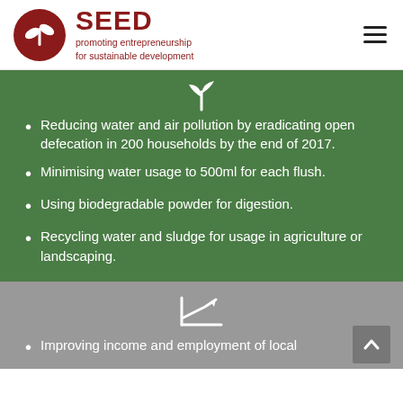SEED promoting entrepreneurship for sustainable development
[Figure (logo): SEED logo: dark red circle with white plant/sprout icon, followed by text 'SEED' in large dark red bold font, and subtitle 'promoting entrepreneurship for sustainable development' in smaller dark red text]
Reducing water and air pollution by eradicating open defecation in 200 households by the end of 2017.
Minimising water usage to 500ml for each flush.
Using biodegradable powder for digestion.
Recycling water and sludge for usage in agriculture or landscaping.
Improving income and employment of local